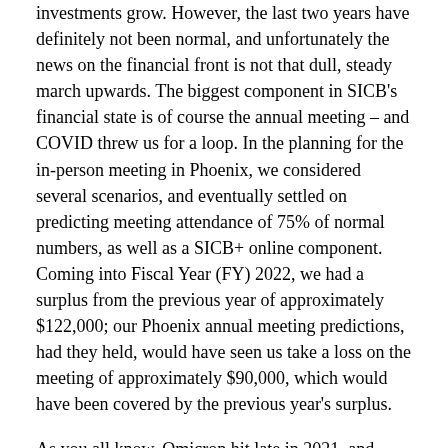investments grow. However, the last two years have definitely not been normal, and unfortunately the news on the financial front is not that dull, steady march upwards. The biggest component in SICB's financial state is of course the annual meeting – and COVID threw us for a loop. In the planning for the in-person meeting in Phoenix, we considered several scenarios, and eventually settled on predicting meeting attendance of 75% of normal numbers, as well as a SICB+ online component. Coming into Fiscal Year (FY) 2022, we had a surplus from the previous year of approximately $122,000; our Phoenix annual meeting predictions, had they held, would have seen us take a loss on the meeting of approximately $90,000, which would have been covered by the previous year's surplus.
As you all know, Omicron hit late in 2021, and worries over the new variant resulted in many SICB members switching